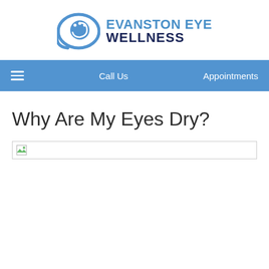[Figure (logo): Evanston Eye Wellness logo with eye icon and text]
Call Us   Appointments
Why Are My Eyes Dry?
[Figure (photo): Broken/unloaded image placeholder]